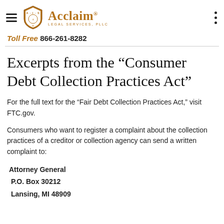Acclaim Legal Services, PLLC — Toll Free 866-261-8282
Excerpts from the “Consumer Debt Collection Practices Act”
For the full text for the “Fair Debt Collection Practices Act,” visit FTC.gov.
Consumers who want to register a complaint about the collection practices of a creditor or collection agency can send a written complaint to:
Attorney General
P.O. Box 30212
Lansing, MI 48909